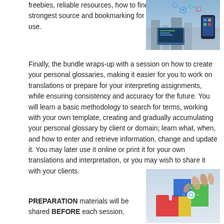freebies, reliable resources, how to find the strongest source and bookmarking for future use.
[Figure (photo): Photo of hands holding a smartphone with digital network icons and a laptop in background]
Finally, the bundle wraps-up with a session on how to create your personal glossaries, making it easier for you to work on translations or prepare for your interpreting assignments, while ensuring consistency and accuracy for the future. You will learn a basic methodology to search for terms, working with your own template, creating and gradually accumulating your personal glossary by client or domain; learn what, when, and how to enter and retrieve information, change and update it. You may later use it online or print it for your own translations and interpretation, or you may wish to share it with your clients.
[Figure (photo): Photo of hands assembling colorful puzzle pieces with a glowing light effect]
PREPARATION materials will be shared BEFORE each session,